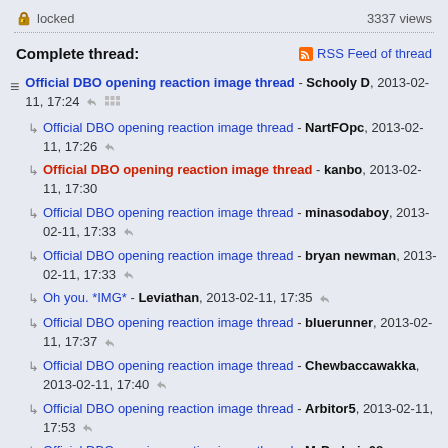locked   3337 views
Complete thread:   RSS Feed of thread
Official DBO opening reaction image thread - Schooly D, 2013-02-11, 17:24
Official DBO opening reaction image thread - NartFOpc, 2013-02-11, 17:26
Official DBO opening reaction image thread - kanbo, 2013-02-11, 17:30
Official DBO opening reaction image thread - minasodaboy, 2013-02-11, 17:33
Official DBO opening reaction image thread - bryan newman, 2013-02-11, 17:33
Oh you. *IMG* - Leviathan, 2013-02-11, 17:35
Official DBO opening reaction image thread - bluerunner, 2013-02-11, 17:37
Official DBO opening reaction image thread - Chewbaccawakka, 2013-02-11, 17:40
Official DBO opening reaction image thread - Arbitor5, 2013-02-11, 17:53
Official DBO opening reaction image thread - MrPadraig08,